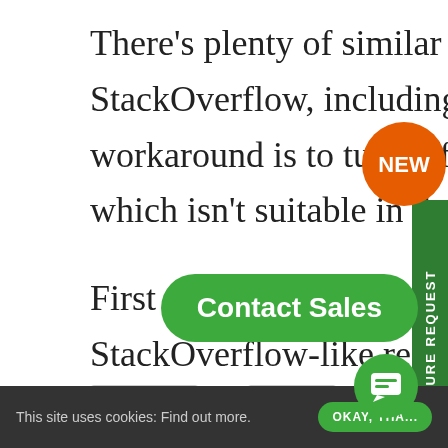There's plenty of similar issues reported on StackOverflow, including ours, and most of the workaround is to turn off the bitcode for the distribution, which isn't suitable in the long-term perspective.
First realistic thing i noticed in the sea of ideas from StackOverflow-like resources was the suggestion that LLVM or GCC instrumentation might be included in binary, and which will definitely p... successful distribution. There's th... Q&A QA1964 which discuss this in more deta...
This site uses cookies: Find out more. OKAY, THA...